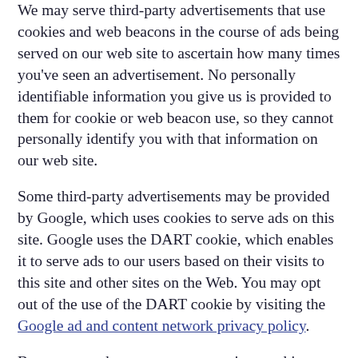We may serve third-party advertisements that use cookies and web beacons in the course of ads being served on our web site to ascertain how many times you've seen an advertisement. No personally identifiable information you give us is provided to them for cookie or web beacon use, so they cannot personally identify you with that information on our web site.
Some third-party advertisements may be provided by Google, which uses cookies to serve ads on this site. Google uses the DART cookie, which enables it to serve ads to our users based on their visits to this site and other sites on the Web. You may opt out of the use of the DART cookie by visiting the Google ad and content network privacy policy.
Browsers can be set to accept or reject cookies or